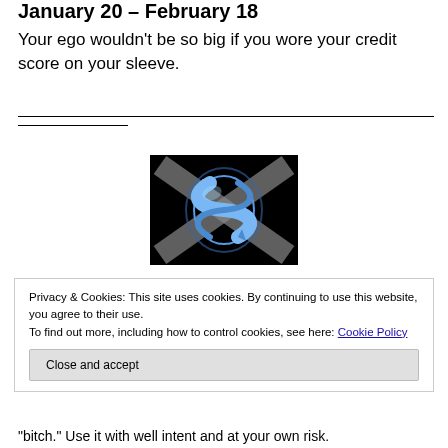January 20 – February 18
Your ego wouldn't be so big if you wore your credit score on your sleeve.
[Figure (logo): A blue stylized fish/dollar sign logo on a black background with an X shape]
Privacy & Cookies: This site uses cookies. By continuing to use this website, you agree to their use.
To find out more, including how to control cookies, see here: Cookie Policy
"bitch." Use it with well intent and at your own risk.